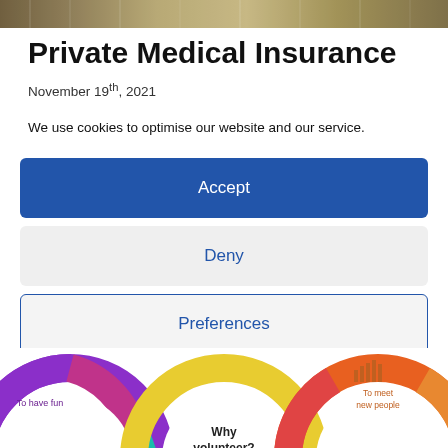[Figure (photo): Top banner image showing a building, partially cropped]
Private Medical Insurance
November 19th, 2021
We use cookies to optimise our website and our service.
Accept
Deny
Preferences
Cookie Policy  Privacy Policy
[Figure (infographic): Colorful circular infographic showing 'Why volunteer?' with segments including 'To have fun' (purple) and 'To meet new people' (orange/red), partially cropped at bottom]